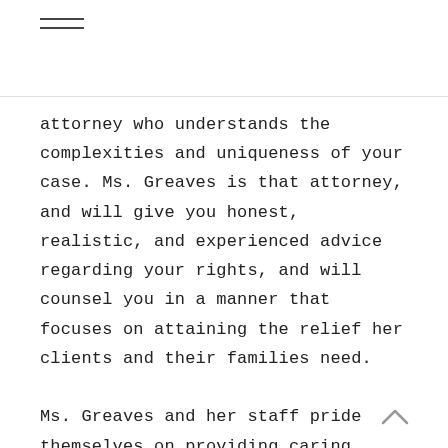attorney who understands the complexities and uniqueness of your case. Ms. Greaves is that attorney, and will give you honest, realistic, and experienced advice regarding your rights, and will counsel you in a manner that focuses on attaining the relief her clients and their families need.

Ms. Greaves and her staff pride themselves on providing caring, compassionate, knowledgeable and personalized legal guidance throughout the process. You, your family, and your case are a priority and Ms. Greaves and her staff are always available to